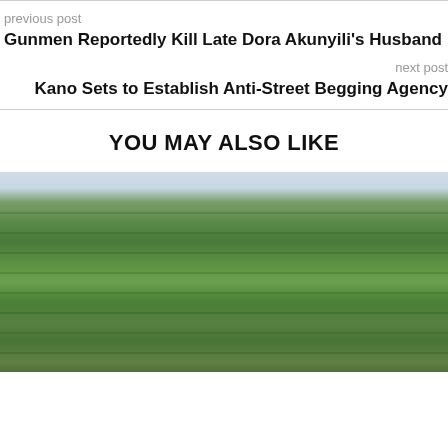previous post
Gunmen Reportedly Kill Late Dora Akunyili's Husband
next post
Kano Sets to Establish Anti-Street Begging Agency
YOU MAY ALSO LIKE
[Figure (photo): Green farm field with rows of leafy plants extending to the horizon under a grey sky]
[Figure (photo): Close-up of large tree roots or stumps on reddish-brown earth with some green grass]